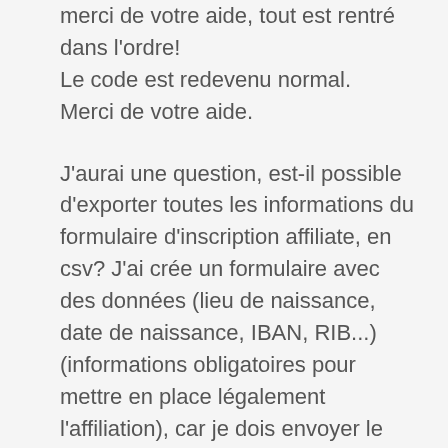merci de votre aide, tout est rentré dans l'ordre!
Le code est redevenu normal.
Merci de votre aide.
J'aurai une question, est-il possible d'exporter toutes les informations du formulaire d'inscription affiliate, en csv? J'ai crée un formulaire avec des données (lieu de naissance, date de naissance, IBAN, RIB...) (informations obligatoires pour mettre en place légalement l'affiliation), car je dois envoyer le fichier csv dans un logiciel (MOKA,